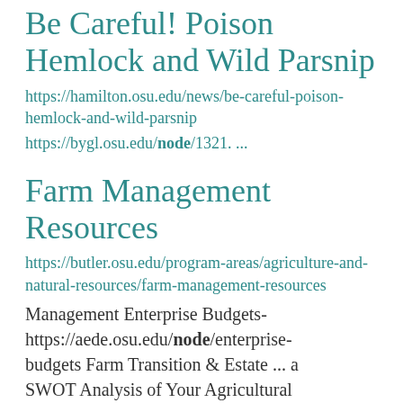Be Careful! Poison Hemlock and Wild Parsnip
https://hamilton.osu.edu/news/be-careful-poison-hemlock-and-wild-parsnip
https://bygl.osu.edu/node/1321. ...
Farm Management Resources
https://butler.osu.edu/program-areas/agriculture-and-natural-resources/farm-management-resources
Management Enterprise Budgets- https://aede.osu.edu/node/enterprise-budgets Farm Transition & Estate ... a SWOT Analysis of Your Agricultural Business- https://ohioline.osu.edu/factsheet/node/764